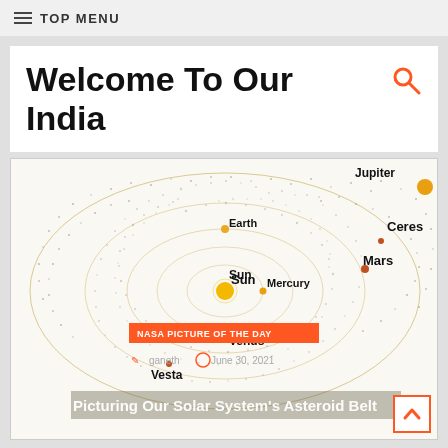TOP MENU
Welcome To Our India
[Figure (illustration): Solar system asteroid belt diagram showing the Sun at center with Mercury, Venus, Earth, Mars, Ceres, Vesta, and Jupiter labeled. A dense cloud of dots represents the asteroid belt between Mars and Jupiter. Orbital ellipses are shown for the inner planets.]
Picturing Our Solar System's Asteroid Belt
NASA PICTURE OF THE DAY
ganeth  June 30, 2021